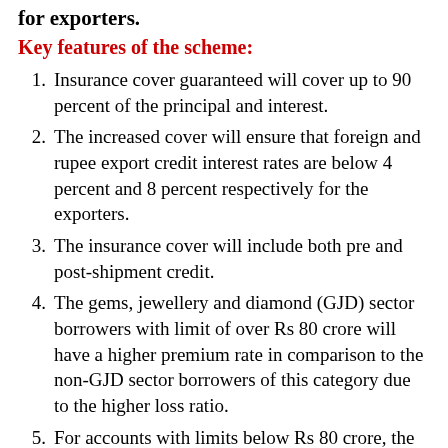for exporters.
Key features of the scheme:
Insurance cover guaranteed will cover up to 90 percent of the principal and interest.
The increased cover will ensure that foreign and rupee export credit interest rates are below 4 percent and 8 percent respectively for the exporters.
The insurance cover will include both pre and post-shipment credit.
The gems, jewellery and diamond (GJD) sector borrowers with limit of over Rs 80 crore will have a higher premium rate in comparison to the non-GJD sector borrowers of this category due to the higher loss ratio.
For accounts with limits below Rs 80 crore, the premium rates will be moderated to